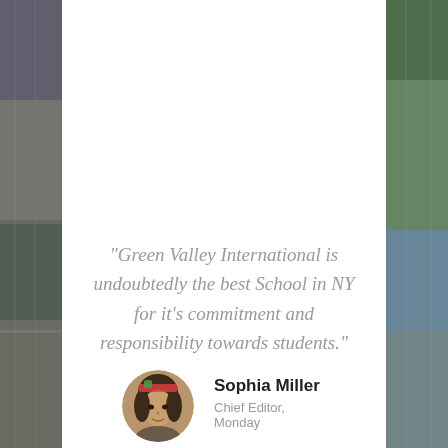[Figure (photo): Background photo collage with architectural and street photography on left and right strips flanking a white central content area]
“Green Valley International is undoubtedly the best School in NY for it’s commitment and responsibility towards students.”
[Figure (photo): Circular portrait photo of Sophia Miller]
Sophia Miller
Chief Editor, Monday